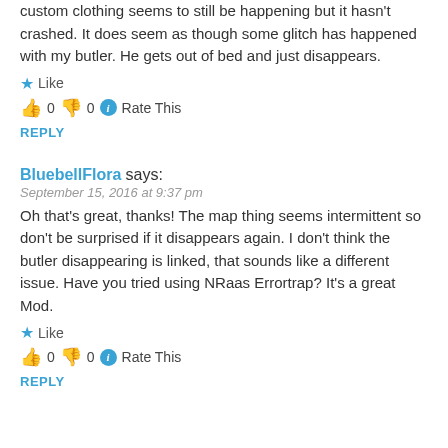custom clothing seems to still be happening but it hasn't crashed. It does seem as though some glitch has happened with my butler. He gets out of bed and just disappears.
★ Like
👍 0 👎 0 ℹ Rate This
REPLY
BluebellFlora says:
September 15, 2016 at 9:37 pm
Oh that's great, thanks! The map thing seems intermittent so don't be surprised if it disappears again. I don't think the butler disappearing is linked, that sounds like a different issue. Have you tried using NRaas Errortrap? It's a great Mod.
★ Like
👍 0 👎 0 ℹ Rate This
REPLY